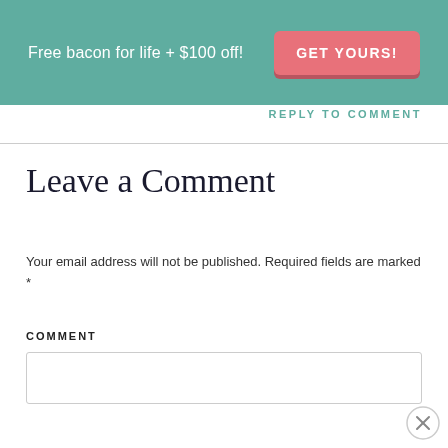[Figure (infographic): Teal banner with promotional text 'Free bacon for life + $100 off!' and a pink 'GET YOURS!' button]
REPLY TO COMMENT
Leave a Comment
Your email address will not be published. Required fields are marked *
COMMENT
[Figure (screenshot): Empty comment text area input box]